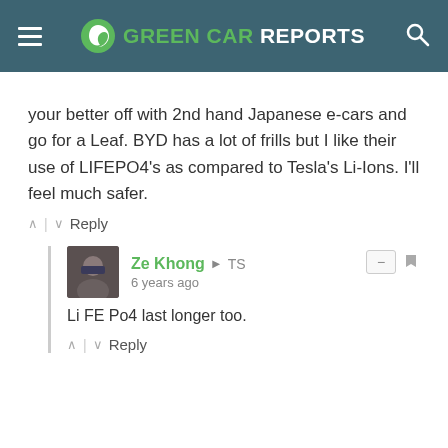GREEN CAR REPORTS
your better off with 2nd hand Japanese e-cars and go for a Leaf. BYD has a lot of frills but I like their use of LIFEPO4's as compared to Tesla's Li-Ions. I'll feel much safer.
^ | v  Reply
Ze Khong → TS
6 years ago
Li FE Po4 last longer too.
^ | v  Reply